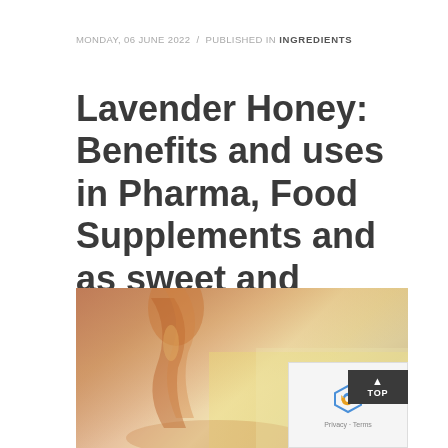MONDAY, 06 JUNE 2022 / PUBLISHED IN INGREDIENTS
Lavender Honey: Benefits and uses in Pharma, Food Supplements and as sweet and spreads
[Figure (photo): Close-up photo of honey being poured, showing amber/golden honey drizzle against a soft blurred background with warm tones]